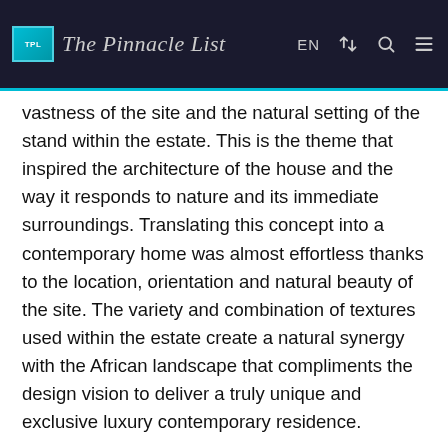The Pinnacle List | EN
vastness of the site and the natural setting of the stand within the estate. This is the theme that inspired the architecture of the house and the way it responds to nature and its immediate surroundings. Translating this concept into a contemporary home was almost effortless thanks to the location, orientation and natural beauty of the site. The variety and combination of textures used within the estate create a natural synergy with the African landscape that compliments the design vision to deliver a truly unique and exclusive luxury contemporary residence.
Architect: Nico Van Der Meulen Architects
Designer: M Square Lifestyle Design
Photography: Barend Roberts
Location: 22 Diamond Drive, Mooikloof